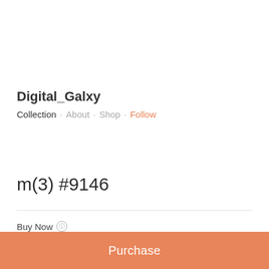Digital_Galxy
Collection · About · Shop · Follow
m(3) #9146
Buy Now ⓘ
≡ 0.58 ($905.03)
Purchase